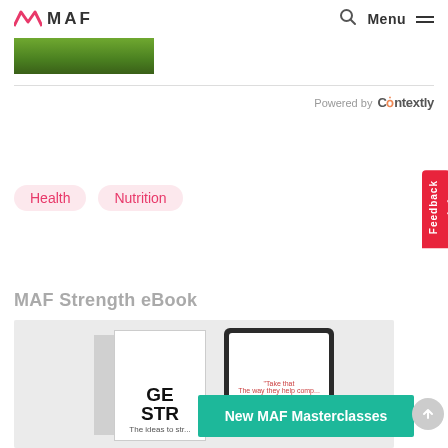MAF — Menu
[Figure (photo): Partial image strip showing green grass/outdoor scene]
Powered by Contextly
Health
Nutrition
MAF Strength eBook
[Figure (photo): Book and tablet showing 'GET STRONG' MAF eBook cover, with elderly man avatar in bottom left]
New MAF Masterclasses